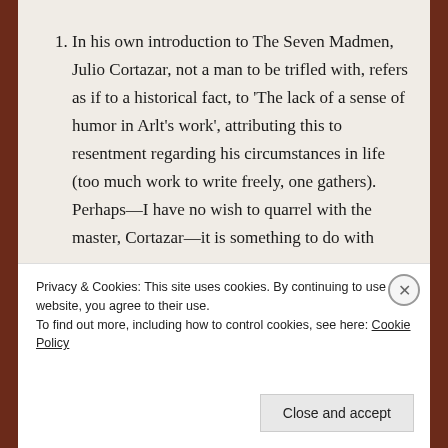In his own introduction to The Seven Madmen, Julio Cortazar, not a man to be trifled with, refers as if to a historical fact, to 'The lack of a sense of humor in Arlt's work', attributing this to resentment regarding his circumstances in life (too much work to write freely, one gathers). Perhaps—I have no wish to quarrel with the master, Cortazar—it is something to do with
Privacy & Cookies: This site uses cookies. By continuing to use this website, you agree to their use.
To find out more, including how to control cookies, see here: Cookie Policy
Close and accept